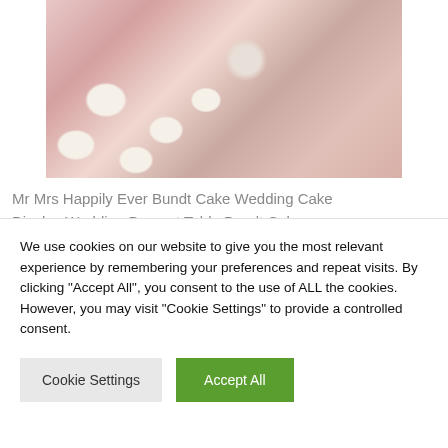[Figure (photo): Photo of bundt cake cupcakes with white frosting displayed on a pink rosette tablecloth with a glass cake stand]
Mr Mrs Happily Ever Bundt Cake Wedding Cake Display Wedding Dessert Table Bundt Cake
[Figure (photo): Photo of pink flowers (peonies) with a place card on a decorated table with gold frames and bokeh lights in background]
We use cookies on our website to give you the most relevant experience by remembering your preferences and repeat visits. By clicking "Accept All", you consent to the use of ALL the cookies. However, you may visit "Cookie Settings" to provide a controlled consent.